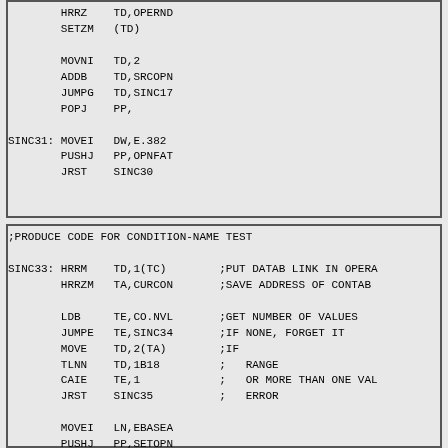HRRZ TD,OPERND
SETZM (TD)

MOVNI TD,2
ADDB TD,SRCOPN
JUMPG TD,SINC17
POPJ PP,

SINC31: MOVEI DW,E.382
        PUSHJ PP,OPNFAT
        JRST  SINC30
;PRODUCE CODE FOR CONDITION-NAME TEST

SINC33: HRRM  TD,1(TC)    ;PUT DATAB LINK IN OPERA
        HRRZM TA,CURCON  ;SAVE ADDRESS OF CONTAB

        LDB   TE,CO.NVL  ;GET NUMBER OF VALUES
        JUMPE TE,SINC34  ;IF NONE, FORGET IT
        MOVE  TD,2(TA)   ;IF
        TLNN  TD,1B18     ;   RANGE
        CAIE  TE,1        ;   OR MORE THAN ONE VAL
        JRST  SINC35     ;   ERROR

        MOVEI LN,EBASEA
        PUSHJ PP,SETOPN